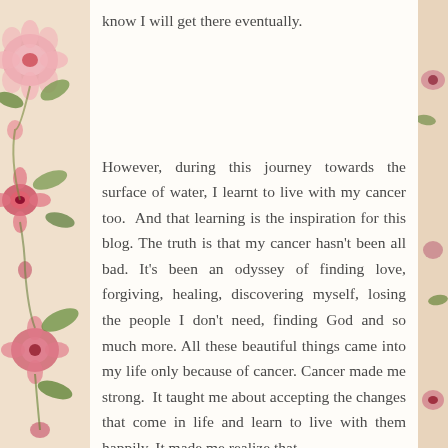know I will get there eventually.
However, during this journey towards the surface of water, I learnt to live with my cancer too.  And that learning is the inspiration for this blog. The truth is that my cancer hasn't been all bad. It's been an odyssey of finding love, forgiving, healing, discovering myself, losing the people I don't need, finding God and so much more. All these beautiful things came into my life only because of cancer. Cancer made me strong.  It taught me about accepting the changes that come in life and learn to live with them happily. It made me realize that